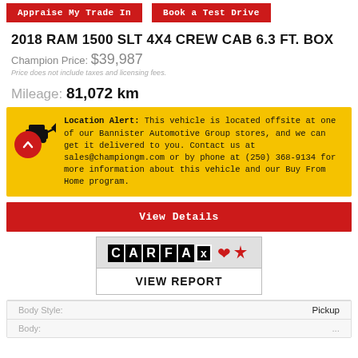Appraise My Trade In | Book a Test Drive
2018 RAM 1500 SLT 4X4 CREW CAB 6.3 FT. BOX
Champion Price: $39,987
Price does not include taxes and licensing fees.
Mileage: 81,072 km
Location Alert: This vehicle is located offsite at one of our Bannister Automotive Group stores, and we can get it delivered to you. Contact us at sales@championgm.com or by phone at (250) 368-9134 for more information about this vehicle and our Buy From Home program.
View Details
[Figure (logo): CARFAX Canada logo with maple leaf]
VIEW REPORT
| Body Style: | Pickup |
| --- | --- |